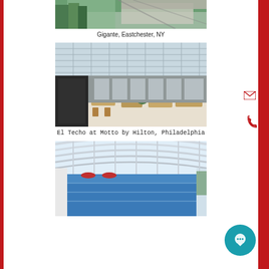[Figure (photo): Aerial or overhead view of Gigante building with green walls and skylight, Eastchester, NY]
Gigante, Eastchester, NY
[Figure (photo): Interior photo of El Techo rooftop restaurant at Motto by Hilton, Philadelphia, showing skylight ceiling, chairs, tables, and red accents]
El Techo at Motto by Hilton, Philadelphia
[Figure (photo): Indoor swimming pool with white arched polycarbonate roof structure and glass walls, surrounded by greenery]